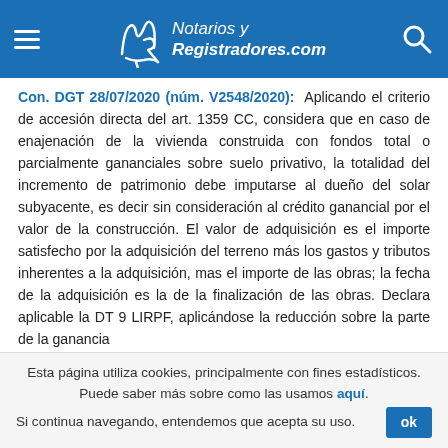Notarios y Registradores.com
Con. DGT 28/07/2020 (núm. V2548/2020): Aplicando el criterio de accesión directa del art. 1359 CC, considera que en caso de enajenación de la vivienda construida con fondos total o parcialmente gananciales sobre suelo privativo, la totalidad del incremento de patrimonio debe imputarse al dueño del solar subyacente, es decir sin consideración al crédito ganancial por el valor de la construcción. El valor de adquisición es el importe satisfecho por la adquisición del terreno más los gastos y tributos inherentes a la adquisición, mas el importe de las obras; la fecha de la adquisición es la de la finalización de las obras. Declara aplicable la DT 9 LIRPF, aplicándose la reducción sobre la parte de la ganancia
Esta página utiliza cookies, principalmente con fines estadísticos. Puede saber más sobre como las usamos aquí. Si continua navegando, entendemos que acepta su uso. ok